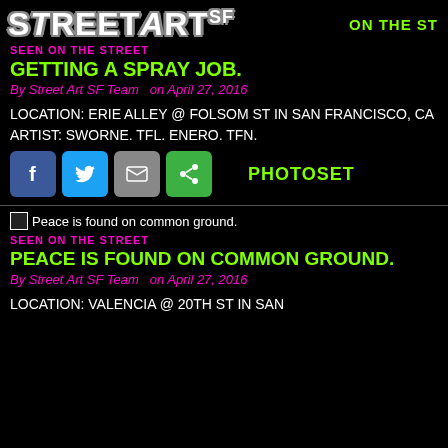StreetArt SF   ON THE ST
SEEN ON THE STREET
GETTING A SPRAY JOB.
By Street Art SF Team  on April 27, 2016
LOCATION: ERIE ALLEY @ FOLSOM ST IN SAN FRANCISCO, CA
ARTIST: SWORNE. TFL. ENERO. TFN.
[Figure (other): Social share buttons: Facebook, Twitter, Email, Share; and PHOTOSET label]
SEEN ON THE STREET
PEACE IS FOUND ON COMMON GROUND.
By Street Art SF Team  on April 27, 2016
LOCATION: VALENCIA @ 20TH ST IN SAN